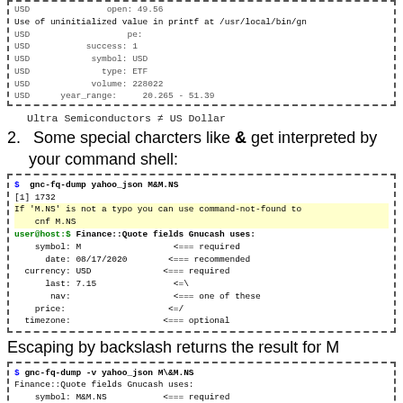[Figure (screenshot): Code block showing USD fields: open 49.56, use of uninitialized value warning, pe, success 1, symbol USD, type ETF, volume 228022, year_range 20.265 - 51.39]
Ultra Semiconductors ≠ US Dollar
2. Some special charcters like & get interpreted by your command shell:
[Figure (screenshot): Code block showing gnc-fq-dump yahoo_json M&M.NS command, with [1] 1732 output, yellow-highlighted error about M.NS not being a typo, and Finance::Quote fields Gnucash uses with symbol M, date 08/17/2020, currency USD, last 7.15, nav, price, timezone fields]
Escaping by backslash returns the result for M
[Figure (screenshot): Code block showing gnc-fq-dump -v yahoo_json M\&M.NS command, Finance::Quote fields with symbol M&M.NS, date 08/17/2020]